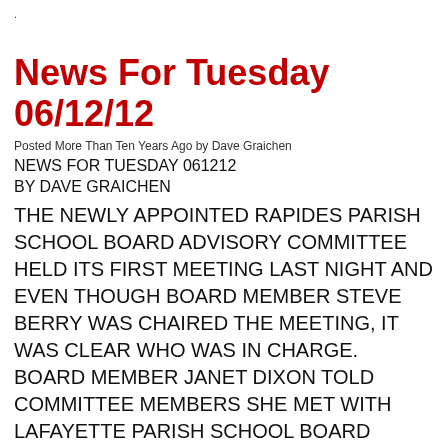News For Tuesday 06/12/12
Posted More Than Ten Years Ago by Dave Graichen
NEWS FOR TUESDAY 061212
BY DAVE GRAICHEN
THE NEWLY APPOINTED RAPIDES PARISH SCHOOL BOARD ADVISORY COMMITTEE HELD ITS FIRST MEETING LAST NIGHT AND EVEN THOUGH BOARD MEMBER STEVE BERRY WAS CHAIRED THE MEETING, IT WAS CLEAR WHO WAS IN CHARGE. BOARD MEMBER JANET DIXON TOLD COMMITTEE MEMBERS SHE MET WITH LAFAYETTE PARISH SCHOOL BOARD PRESIDENT SHELTON COBB THIS PAST FRIDAY TO FIND OUT HOW THAT BOARD APPROACHED ITS RECENT SEARCH FOR A NEW SCHOOL SUPERINTENDENT. DIXON INFORMED THE BOARD SHE WAS DEVELOPING A POWERPOINT